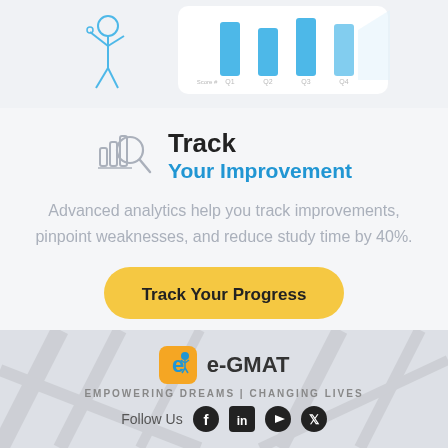[Figure (illustration): Partial view of a bar chart UI card with blue bars and column labels Q1-Q4, with a stick figure illustration to the left]
Track
Your Improvement
Advanced analytics help you track improvements, pinpoint weaknesses, and reduce study time by 40%.
[Figure (illustration): Yellow rounded button labeled Track Your Progress]
[Figure (logo): e-GMAT logo with yellow/orange background icon and brand name]
EMPOWERING DREAMS | CHANGING LIVES
Follow Us with social media icons: Facebook, LinkedIn, YouTube, Twitter